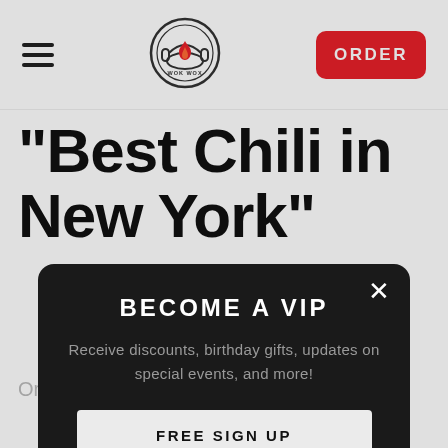[Figure (logo): Wok Wox restaurant logo — circular badge with flame icon in center]
[Figure (other): Red ORDER button in top-right corner]
"Best Chili in New York"
Order takeout & delivery from our site to
BECOME A VIP
Receive discounts, birthday gifts, updates on special events, and more!
FREE SIGN UP